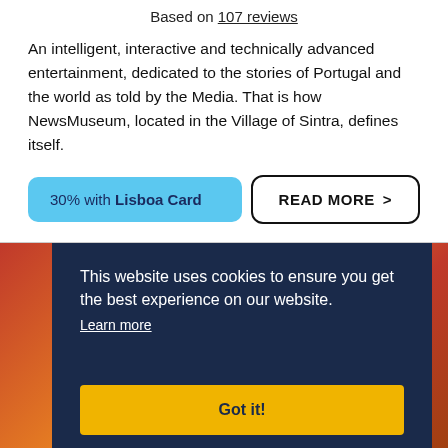Based on 107 reviews
An intelligent, interactive and technically advanced entertainment, dedicated to the stories of Portugal and the world as told by the Media. That is how NewsMuseum, located in the Village of Sintra, defines itself.
30% with Lisboa Card
READ MORE >
[Figure (photo): Orange and red background photo partially visible behind cookie banner]
This website uses cookies to ensure you get the best experience on our website.
Learn more
Got it!